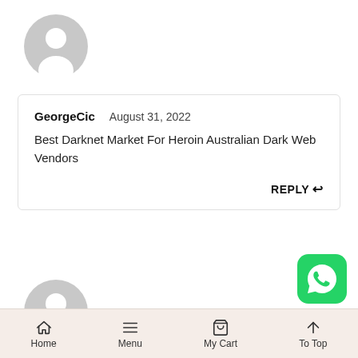[Figure (illustration): Generic user avatar icon (gray circle with person silhouette), top left area]
GeorgeCic   August 31, 2022
Best Darknet Market For Heroin Australian Dark Web Vendors
REPLY ↩
[Figure (illustration): Generic user avatar icon (gray circle with person silhouette), lower left area]
[Figure (other): WhatsApp logo button (green rounded square with white phone handset in speech bubble)]
Home   Menu   My Cart   To Top